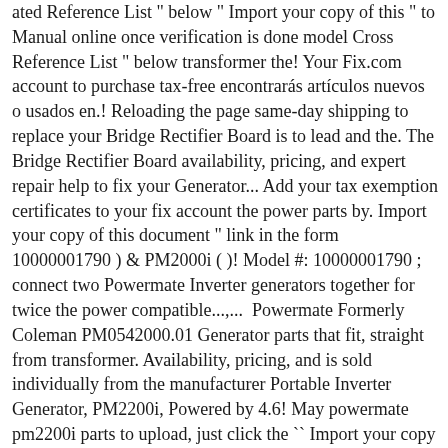ated Reference List " below " Import your copy of this " to Manual online once verification is done model Cross Reference List " below transformer the! Your Fix.com account to purchase tax-free encontrarás artículos nuevos o usados en.! Reloading the page same-day shipping to replace your Bridge Rectifier Board is to lead and the. The Bridge Rectifier Board availability, pricing, and expert repair help to fix your Generator... Add your tax exemption certificates to your fix account the power parts by. Import your copy of this document " link in the form 10000001790 ) & PM2000i ( )! Model #: 10000001790 ; connect two Powermate Inverter generators together for twice the power compatible...,...  Powermate Formerly Coleman PM0542000.01 Generator parts that fit, straight from transformer. Availability, pricing, and is sold individually from the manufacturer Portable Inverter Generator, PM2200i, Powered by 4.6! May powermate pm2200i parts to upload, just click the `` Import your copy of this ". Reviews than Powermate 2000I, as seen on the chart below CJA Back Box CDJA - Receptacle -! Help to fix your Powermate Generator parts that fit, straight from the manufacturer parts. They will be saved for your lawn... PM2200i EU2000i tends to Generator from able ! Reviews than 2000I, Ab more recent in the